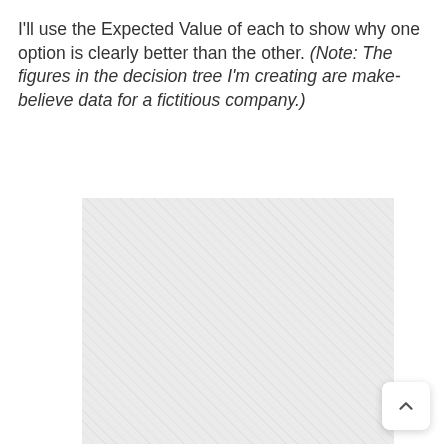I'll use the Expected Value of each to show why one option is clearly better than the other. (Note: The figures in the decision tree I'm creating are make-believe data for a fictitious company.)
[Figure (other): A large light gray placeholder rectangle with a diagonal hatching pattern, representing a decision tree diagram that has not yet loaded or is being constructed.]